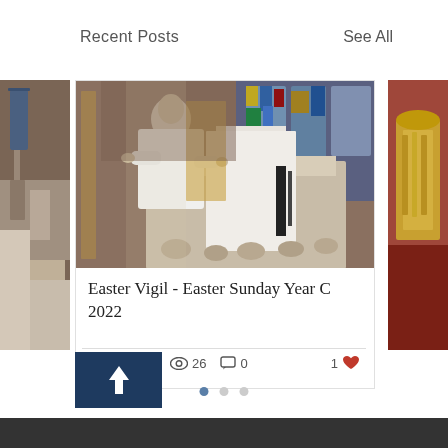Recent Posts
See All
[Figure (photo): Left partial card showing church interior with stained glass window]
[Figure (photo): Center card main image: a priest in white vestments speaking at an ornate pulpit inside a church, with stained glass windows in the background]
Easter Vigil - Easter Sunday Year C 2022
26 views · 0 comments · 1 like
[Figure (illustration): Dark blue square button with white upward-pointing arrow (share/scroll-to-top button)]
[Figure (photo): Right partial card showing church interior with golden altar furnishings]